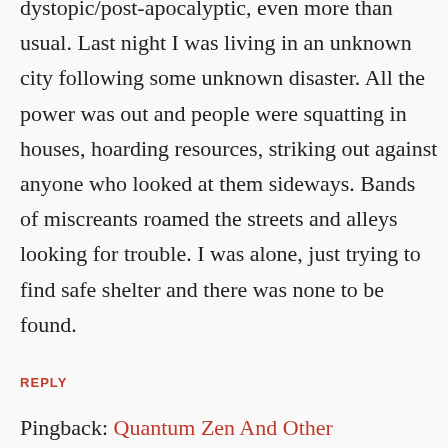dystopic/post-apocalyptic, even more than usual. Last night I was living in an unknown city following some unknown disaster. All the power was out and people were squatting in houses, hoarding resources, striking out against anyone who looked at them sideways. Bands of miscreants roamed the streets and alleys looking for trouble. I was alone, just trying to find safe shelter and there was none to be found.
REPLY
Pingback: Quantum Zen And Other